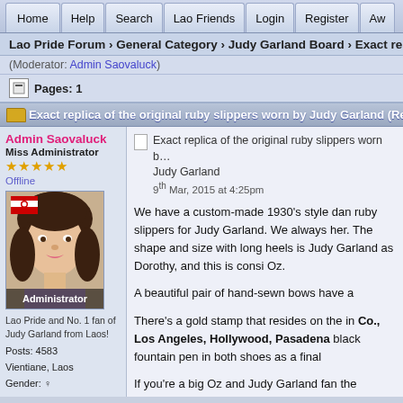Home | Help | Search | Lao Friends | Login | Register | Aw...
Lao Pride Forum › General Category › Judy Garland Board › Exact replica of the origi...
(Moderator: Admin Saovaluck)
Pages: 1
Exact replica of the original ruby slippers worn by Judy Garland (Read...
Admin Saovaluck
Miss Administrator
Offline
[Figure (photo): Profile photo of Admin Saovaluck with Laos flag overlay and Administrator label]
Lao Pride and No. 1 fan of Judy Garland from Laos!
Posts: 4583
Vientiane, Laos
Gender:
Exact replica of the original ruby slippers worn by Judy Garland
9th Mar, 2015 at 4:25pm

We have a custom-made 1930's style dan ruby slippers for Judy Garland. We always her. The shape and size with long heels is Judy Garland as Dorothy, and this is consi Oz.

A beautiful pair of hand-sewn bows have a

There's a gold stamp that resides on the in Co., Los Angeles, Hollywood, Pasadena black fountain pen in both shoes as a final

If you're a big Oz and Judy Garland fan the slippers that would be the perfect addition